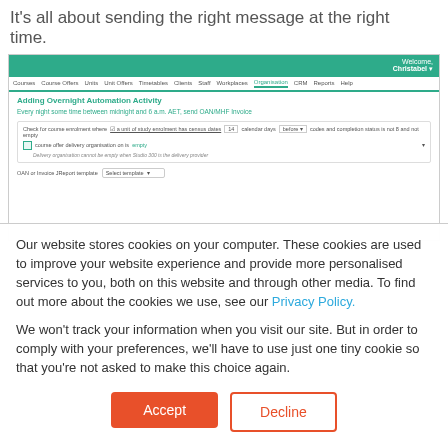It's all about sending the right message at the right time.
[Figure (screenshot): Screenshot of a web application showing 'Adding Overnight Automation Activity' page with navigation bar, green header, and form fields for automation rules including checkboxes and dropdowns.]
Our website stores cookies on your computer. These cookies are used to improve your website experience and provide more personalised services to you, both on this website and through other media. To find out more about the cookies we use, see our Privacy Policy.
We won't track your information when you visit our site. But in order to comply with your preferences, we'll have to use just one tiny cookie so that you're not asked to make this choice again.
Accept
Decline